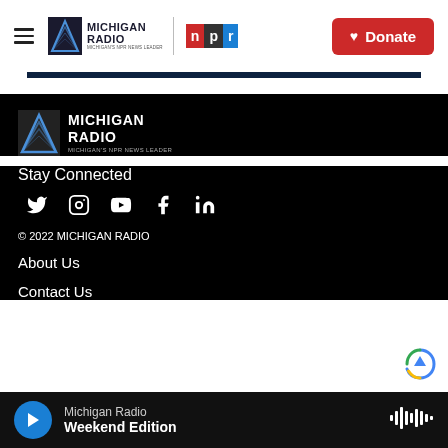Michigan Radio | NPR | Donate
[Figure (logo): Michigan Radio NPR logo with hamburger menu and Donate button]
[Figure (logo): Michigan Radio footer logo - MICHIGAN'S NPR NEWS LEADER]
Stay Connected
[Figure (infographic): Social media icons: Twitter, Instagram, YouTube, Facebook, LinkedIn]
© 2022 MICHIGAN RADIO
About Us
Contact Us
Michigan Radio Weekend Edition